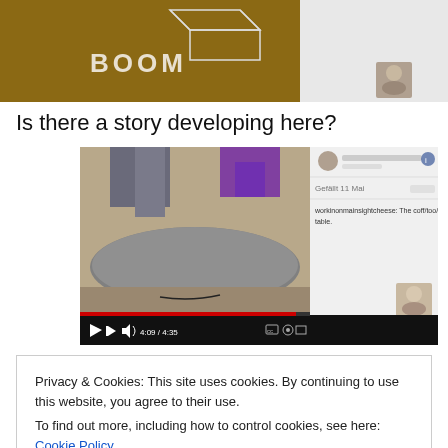[Figure (screenshot): Top strip showing a photo with 'BOOM' text and chalk box drawing on cardboard, with a small profile photo thumbnail on the right side]
Is there a story developing here?
[Figure (screenshot): Embedded video player screenshot showing a person's feet near a grey concrete/clay slab on the ground, with a Facebook post panel on the right. Red progress bar visible at bottom of video at 4:09/4:35. Small profile photo thumbnail visible.]
Privacy & Cookies: This site uses cookies. By continuing to use this website, you agree to their use.
To find out more, including how to control cookies, see here: Cookie Policy